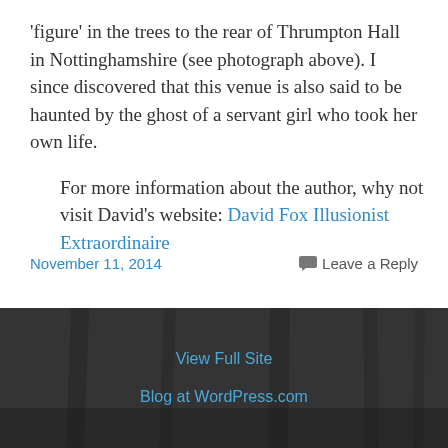'figure' in the trees to the rear of Thrumpton Hall in Nottinghamshire (see photograph above). I since discovered that this venue is also said to be haunted by the ghost of a servant girl who took her own life.
For more information about the author, why not visit David's website: David Fox Illusionist Extraordinaire
November 11, 2014   Leave a Reply
View Full Site
Blog at WordPress.com